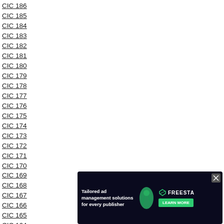CIC 186
CIC 185
CIC 184
CIC 183
CIC 182
CIC 181
CIC 180
CIC 179
CIC 178
CIC 177
CIC 176
CIC 175
CIC 174
CIC 173
CIC 172
CIC 171
CIC 170
CIC 169
CIC 168
CIC 167
CIC 166
CIC 165
CIC 164
CIC 163
CIC 162
CIC 161
CIC 160
CIC 159
[Figure (other): Advertisement banner for Freesta ad management solutions with close button]